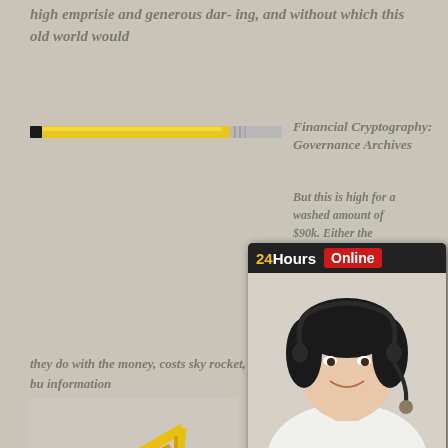high emprisie and generous dar- ing, and without which this old world would
[Figure (photo): Yellow and grey pencil/pen tool, horizontal]
Financial Cryptography: Governance Archives
But this is high for a washed amount of $90k. Either the terrorist cost, or the bank
[Figure (infographic): 24Hours Online chat popup with photo of woman wearing headset and Click To Chat button]
they do with the money, costs sky rocket, bu information
[Figure (photo): Yellow excavator / drilling machine]
March
forfeit S 'marylan enforcen high-tech cameras placed strategically on major highways." The Attorney